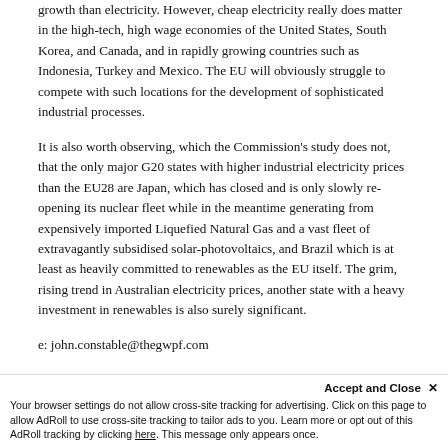growth than electricity. However, cheap electricity really does matter in the high-tech, high wage economies of the United States, South Korea, and Canada, and in rapidly growing countries such as Indonesia, Turkey and Mexico. The EU will obviously struggle to compete with such locations for the development of sophisticated industrial processes.
It is also worth observing, which the Commission's study does not, that the only major G20 states with higher industrial electricity prices than the EU28 are Japan, which has closed and is only slowly re-opening its nuclear fleet while in the meantime generating from expensively imported Liquefied Natural Gas and a vast fleet of extravagantly subsidised solar-photovoltaics, and Brazil which is at least as heavily committed to renewables as the EU itself. The grim, rising trend in Australian electricity prices, another state with a heavy investment in renewables is also surely significant.
e: john.constable@thegwpf.com
Accept and Close ✕
Your browser settings do not allow cross-site tracking for advertising. Click on this page to allow AdRoll to use cross-site tracking to tailor ads to you. Learn more or opt out of this AdRoll tracking by clicking here. This message only appears once.